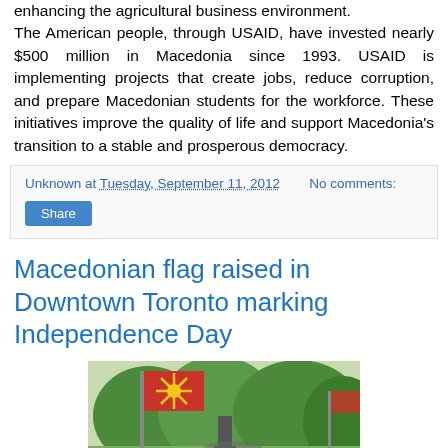enhancing the agricultural business environment. The American people, through USAID, have invested nearly $500 million in Macedonia since 1993. USAID is implementing projects that create jobs, reduce corruption, and prepare Macedonian students for the workforce. These initiatives improve the quality of life and support Macedonia's transition to a stable and prosperous democracy.
Unknown at Tuesday, September 11, 2012   No comments:
Share
Macedonian flag raised in Downtown Toronto marking Independence Day
[Figure (photo): Photo of a Macedonian flag being raised outdoors in a park or public square in Downtown Toronto, with trees visible in the background.]